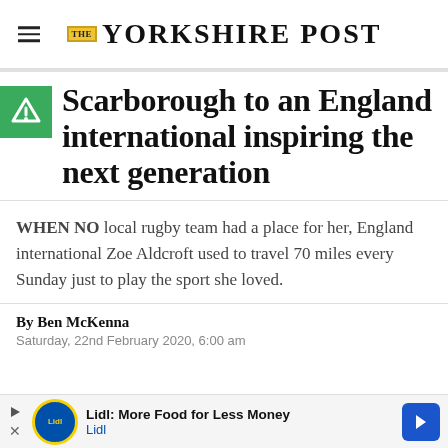THE YORKSHIRE POST
Scarborough to an England international inspiring the next generation
WHEN NO local rugby team had a place for her, England international Zoe Aldcroft used to travel 70 miles every Sunday just to play the sport she loved.
By Ben McKenna
Saturday, 22nd February 2020, 6:00 am
[Figure (advertisement): Lidl advertisement banner: Lidl: More Food for Less Money, Lidl logo, navigation arrow]